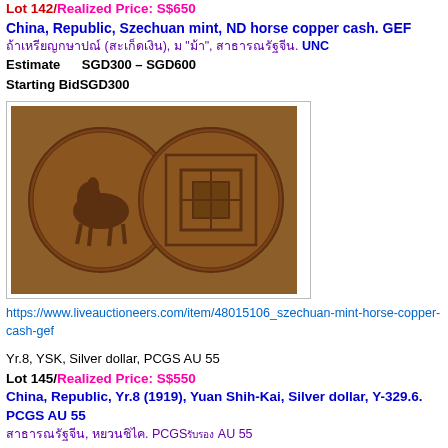Lot 142/Realized Price: S$650
China, Republic, Szechuan mint, ND horse copper cash. GEF
ถ้าเหรียญกษาปณ์ (สะเก็ดเงิน), ม "ม้า", สาธารณรัฐจีน. UNC
Estimate SGD300 – SGD600
Starting BidSGD300
[Figure (photo): Two copper cash coins showing horse obverse and square-hole reverse]
https://www.liveauctioneers.com/item/48015106_szechuan-mint-horse-copper-cash-gef
Yr.8, YSK, Silver dollar, PCGS AU 55
Lot 145/Realized Price: S$550
China, Republic, Yr.8 (1919), Yuan Shih-Kai, Silver dollar, Y-329.6. PCGS AU 55
สาธารณรัฐจีน, หยวนชิไค. PCGSรับรอง AU 55